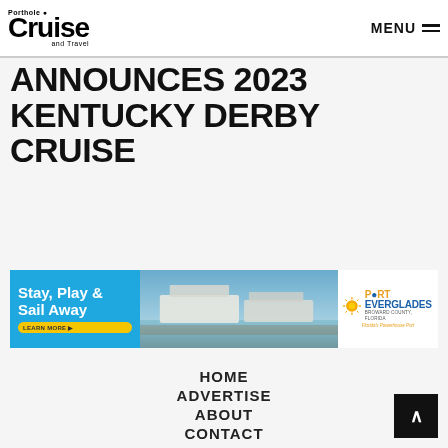Porthole Cruise and Travel — MENU
ANNOUNCES 2023 KENTUCKY DERBY CRUISE
[Figure (infographic): Port Everglades advertisement banner: 'Stay, Play & Sail Away' with LEARN MORE button, aerial photo of cruise ships at port, and Port Everglades logo with tagline 'Florida's Powerhouse Port']
HOME
ADVERTISE
ABOUT
CONTACT